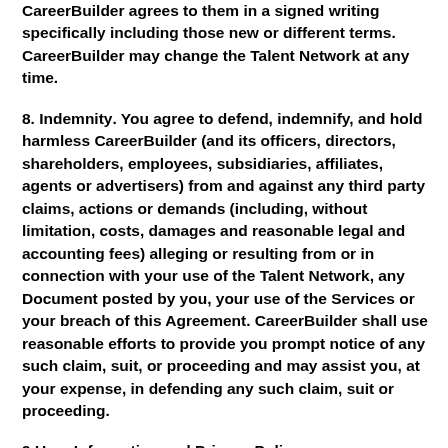CareerBuilder agrees to them in a signed writing specifically including those new or different terms. CareerBuilder may change the Talent Network at any time.
8. Indemnity. You agree to defend, indemnify, and hold harmless CareerBuilder (and its officers, directors, shareholders, employees, subsidiaries, affiliates, agents or advertisers) from and against any third party claims, actions or demands (including, without limitation, costs, damages and reasonable legal and accounting fees) alleging or resulting from or in connection with your use of the Talent Network, any Document posted by you, your use of the Services or your breach of this Agreement. CareerBuilder shall use reasonable efforts to provide you prompt notice of any such claim, suit, or proceeding and may assist you, at your expense, in defending any such claim, suit or proceeding.
9.User Information and Privacy Policy.